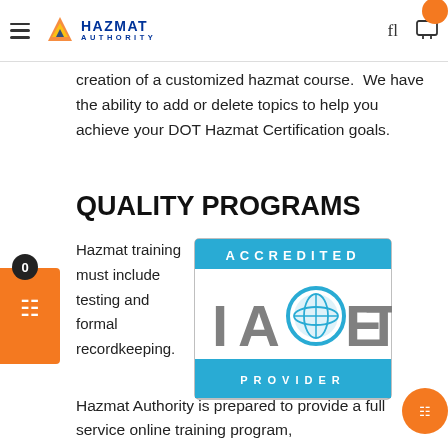HAZMAT AUTHORITY
creation of a customized hazmat course.  We have the ability to add or delete topics to help you achieve your DOT Hazmat Certification goals.
QUALITY PROGRAMS
Hazmat training must include testing and formal recordkeeping.  Hazmat Authority is prepared to provide a full service online training program,
[Figure (logo): ACCREDITED IACET PROVIDER logo — blue and grey badge with globe icon]